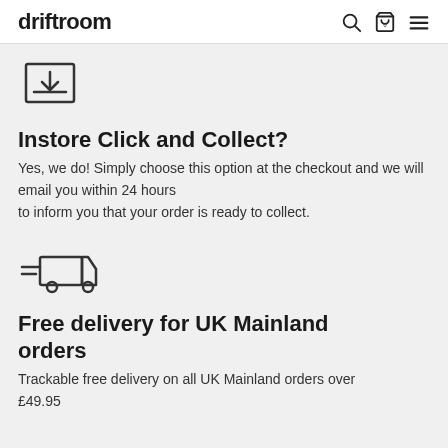driftroom
[Figure (illustration): Download/inbox icon with arrow pointing down into a tray]
Instore Click and Collect?
Yes, we do! Simply choose this option at the checkout and we will email you within 24 hours to inform you that your order is ready to collect.
[Figure (illustration): Delivery truck icon with speed lines]
Free delivery for UK Mainland orders
Trackable free delivery on all UK Mainland orders over £49.95